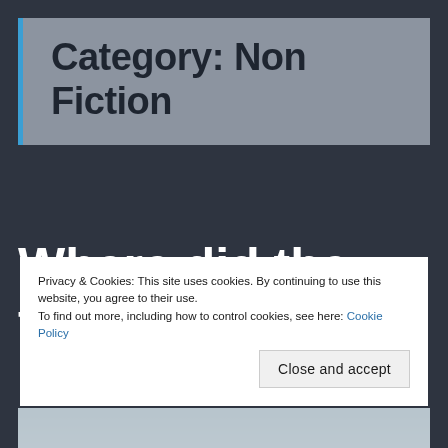Category: Non Fiction
Where did the time go?
Privacy & Cookies: This site uses cookies. By continuing to use this website, you agree to their use.
To find out more, including how to control cookies, see here: Cookie Policy
Close and accept